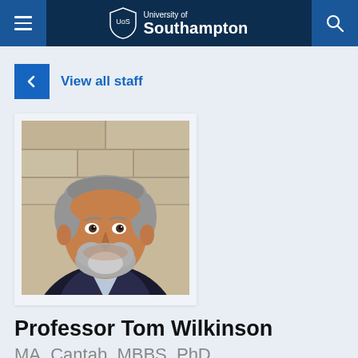University of Southampton
View all staff
[Figure (photo): Headshot photo of Professor Tom Wilkinson — a middle-aged man with grey hair and beard, smiling, wearing a dark jacket and light blue shirt, photographed against a stone wall background.]
Professor Tom Wilkinson
MA, Cantab, MBBS, PhD, FRCR